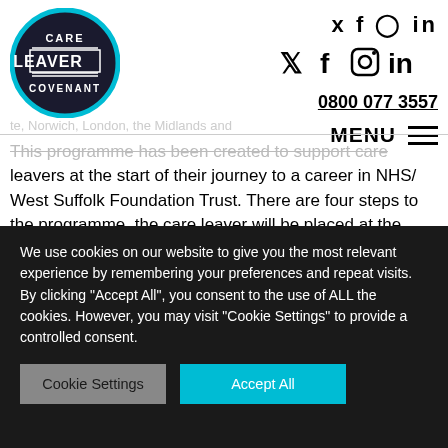[Figure (logo): Care Leaver Covenant circular logo with teal border and white text on dark background]
Twitter, Facebook, Instagram, LinkedIn social icons | 0800 077 3557 | MENU
this programme has been created to support care leavers at the start of their journey to a career in NHS/ West Suffolk Foundation Trust. There are four steps to the programme, the care leaver will be placed at the correct step following an
We use cookies on our website to give you the most relevant experience by remembering your preferences and repeat visits. By clicking "Accept All", you consent to the use of ALL the cookies. However, you may visit "Cookie Settings" to provide a controlled consent.
Cookie Settings
Accept All